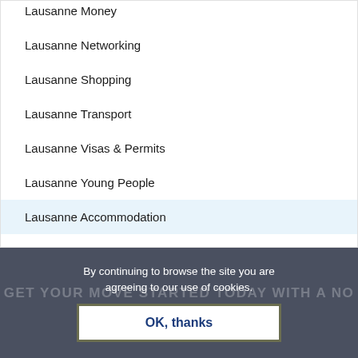Lausanne Money
Lausanne Networking
Lausanne Shopping
Lausanne Transport
Lausanne Visas & Permits
Lausanne Young People
Lausanne Accommodation
By continuing to browse the site you are agreeing to our use of cookies.
GET YOUR MOVE STARTED TODAY WITH A NO OBLIGATION QUOTE
OK, thanks